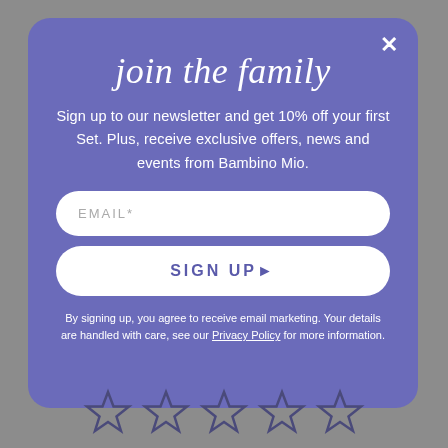join the family
Sign up to our newsletter and get 10% off your first Set. Plus, receive exclusive offers, news and events from Bambino Mio.
EMAIL*
SIGN UP ▶
By signing up, you agree to receive email marketing. Your details are handled with care, see our Privacy Policy for more information.
[Figure (illustration): Five star rating icons (outline style) partially visible at the bottom of the page]